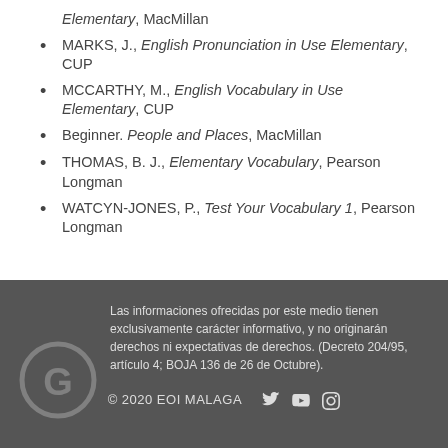Elementary, MacMillan
MARKS, J., English Pronunciation in Use Elementary, CUP
MCCARTHY, M., English Vocabulary in Use Elementary, CUP
Beginner. People and Places, MacMillan
THOMAS, B. J., Elementary Vocabulary, Pearson Longman
WATCYN-JONES, P., Test Your Vocabulary 1, Pearson Longman
Las informaciones ofrecidas por este medio tienen exclusivamente carácter informativo, y no originarán derechos ni expectativas de derechos. (Decreto 204/95, artículo 4; BOJA 136 de 26 de Octubre).
© 2020 EOI MALAGA